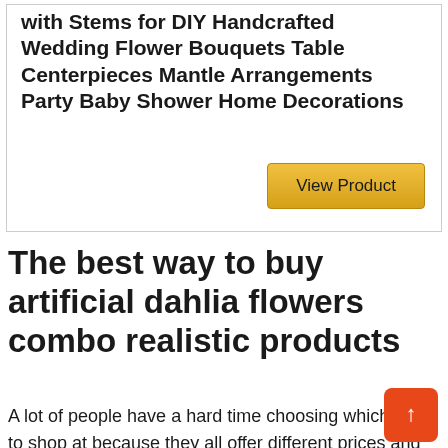with Stems for DIY Handcrafted Wedding Flower Bouquets Table Centerpieces Mantle Arrangements Party Baby Shower Home Decorations
View Product
The best way to buy artificial dahlia flowers combo realistic products
A lot of people have a hard time choosing which store to shop at because they all offer different prices and